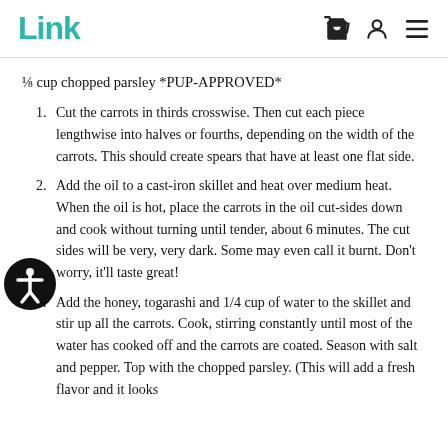Link
⅛ cup chopped parsley *PUP-APPROVED*
Cut the carrots in thirds crosswise. Then cut each piece lengthwise into halves or fourths, depending on the width of the carrots. This should create spears that have at least one flat side.
Add the oil to a cast-iron skillet and heat over medium heat. When the oil is hot, place the carrots in the oil cut-sides down and cook without turning until tender, about 6 minutes. The cut sides will be very, very dark. Some may even call it burnt. Don't worry, it'll taste great!
Add the honey, togarashi and 1/4 cup of water to the skillet and stir up all the carrots. Cook, stirring constantly until most of the water has cooked off and the carrots are coated. Season with salt and pepper. Top with the chopped parsley. (This will add a fresh flavor and it looks